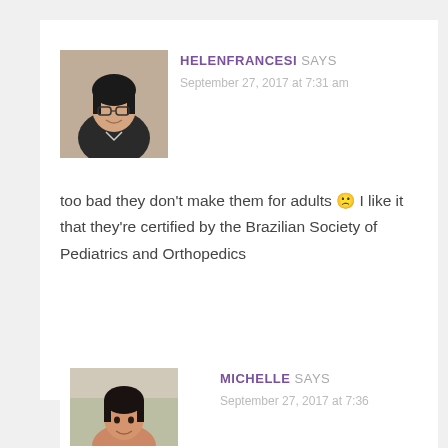[Figure (photo): Profile photo of Helen Francesi, a woman with dark hair and glasses, smiling, wearing a black jacket]
HELENFRANCESI SAYS
September 27, 2017 at 7:31 am
too bad they don't make them for adults 🙁 I like it that they're certified by the Brazilian Society of Pediatrics and Orthopedics
[Figure (photo): Profile photo of Michelle, a woman with dark hair, smiling]
MICHELLE SAYS
September 27, 2017 at 7:36